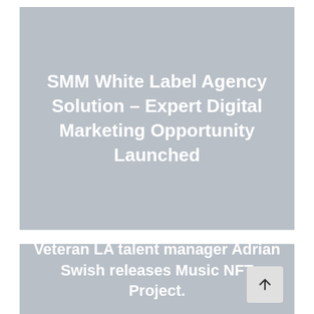[Figure (other): Grey placeholder image card with white bold text reading 'SMM White Label Agency Solution – Expert Digital Marketing Opportunity Launched']
SMM White Label Agency Solution – Expert Digital Marketing Opportunity Launched
[Figure (other): Grey placeholder image card with white bold text at bottom reading 'Veteran LA talent manager Adrian Swish releases Music NFT Project.' and a scroll-to-top button in bottom right corner]
Veteran LA talent manager Adrian Swish releases Music NFT Project.